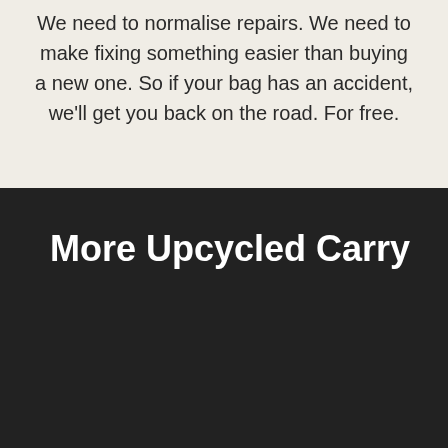The most sustainable product is the one you don't buy. We need to normalise repairs. We need to make fixing something easier than buying a new one. So if your bag has an accident, we'll get you back on the road. For free.
More Upcycled Carry